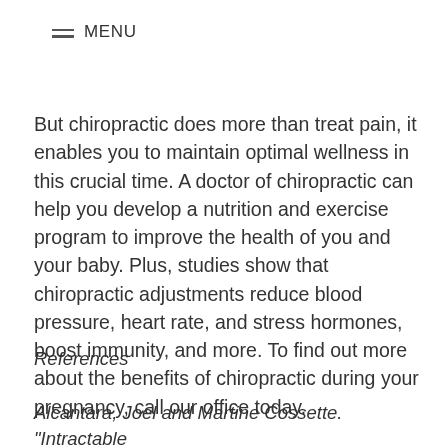≡ MENU
But chiropractic does more than treat pain, it enables you to maintain optimal wellness in this crucial time. A doctor of chiropractic can help you develop a nutrition and exercise program to improve the health of you and your baby. Plus, studies show that chiropractic adjustments reduce blood pressure, heart rate, and stress hormones, boost immunity, and more. To find out more about the benefits of chiropractic during your pregnancy, call our office today.
References
Alcantara, Joel and Martine Cossette. "Intractable